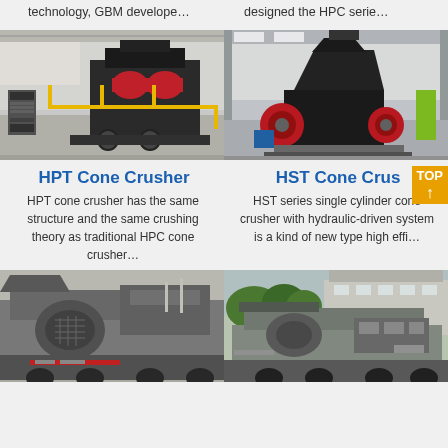technology, GBM develope…
designed the HPC serie…
[Figure (photo): HPT cone crusher machine in industrial facility with yellow safety railings and control panels]
[Figure (photo): HST cone crusher in a large industrial warehouse with red and black coloring]
HPT Cone Crusher
HST Cone Crusher
HPT cone crusher has the same structure and the same crushing theory as traditional HPC cone crusher…
HST series single cylinder cone crusher with hydraulic-driven system is a kind of new type high effi…
[Figure (photo): Large industrial mobile crushing machine on a truck, gray and industrial]
[Figure (photo): Mobile crushing plant on a truck in an outdoor industrial area with buildings and trees in background]